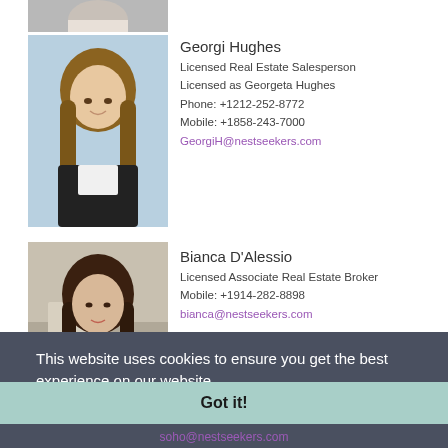[Figure (photo): Partial photo of an agent at the top of the page (cropped)]
[Figure (photo): Professional headshot of Georgi Hughes, a woman with long wavy hair wearing a dark blazer]
Georgi Hughes
Licensed Real Estate Salesperson
Licensed as Georgeta Hughes
Phone: +1212-252-8772
Mobile: +1858-243-7000
GeorgiH@nestseekers.com
[Figure (photo): Professional headshot of Bianca D'Alessio, a woman with long dark hair wearing a dark outfit]
Bianca D'Alessio
Licensed Associate Real Estate Broker
Mobile: +1914-282-8898
bianca@nestseekers.com
This website uses cookies to ensure you get the best experience on our website.
Privacy policy
Got it!
soho@nestseekers.com